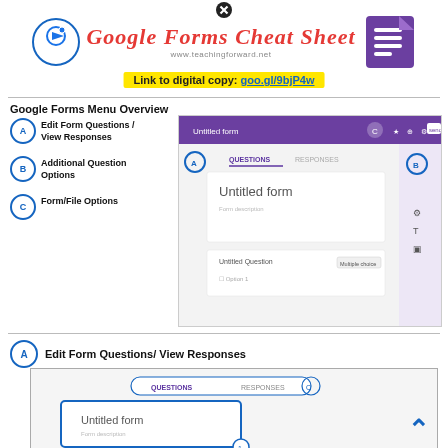Google Forms Cheat Sheet
www.teachingforward.net
Link to digital copy: goo.gl/9bjP4w
Google Forms Menu Overview
A — Edit Form Questions / View Responses
B — Additional Question Options
C — Form/File Options
[Figure (screenshot): Google Forms interface screenshot showing Untitled form with Questions/Responses tabs, an untitled question with Multiple choice option]
A  Edit Form Questions/ View Responses
[Figure (screenshot): Close-up of Google Forms QUESTIONS and RESPONSES tab bar with Untitled form highlighted in a blue box]
Source: teachingforward.net
I am working on it and it ⓧl be out soon!i will be showing you how to get the answers for g. How to